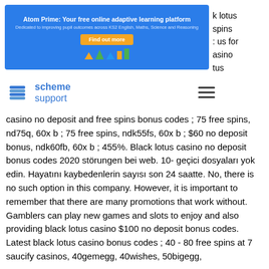[Figure (screenshot): Blue banner advertisement for Atom Prime: 'Your free online adaptive learning platform. Dedicated to improving pupil outcomes across KS2 English, Maths, Science and Reasoning.' with a yellow 'Find out more' button and colorful bar/triangle chart icons.]
k lotus spins : us for asino tus
[Figure (logo): Scheme Support logo: stacked book icon in blue with text 'scheme support' and a hamburger menu icon]
casino no deposit and free spins bonus codes ; 75 free spins, nd75q, 60x b ; 75 free spins, ndk55fs, 60x b ; $60 no deposit bonus, ndk60fb, 60x b ; 455%. Black lotus casino no deposit bonus codes 2020 störungen bei web. 10- geçici dosyaları yok edin. Hayatını kaybedenlerin sayısı son 24 saatte. No, there is no such option in this company. However, it is important to remember that there are many promotions that work without. Gamblers can play new games and slots to enjoy and also providing black lotus casino $100 no deposit bonus codes. Latest black lotus casino bonus codes ; 40 - 80 free spins at 7 saucify casinos, 40gemegg, 40wishes, 50bigegg,